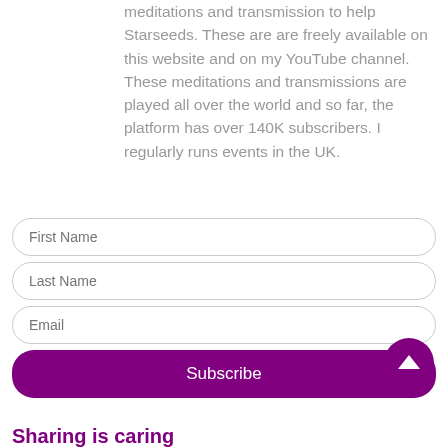meditations and transmission to help Starseeds. These are are freely available on this website and on my YouTube channel. These meditations and transmissions are played all over the world and so far, the platform has over 140K subscribers. I regularly runs events in the UK.
[Figure (other): Web form with First Name, Last Name, Email input fields and a purple Subscribe button]
[Figure (other): Purple circular up-arrow button]
Sharing is caring